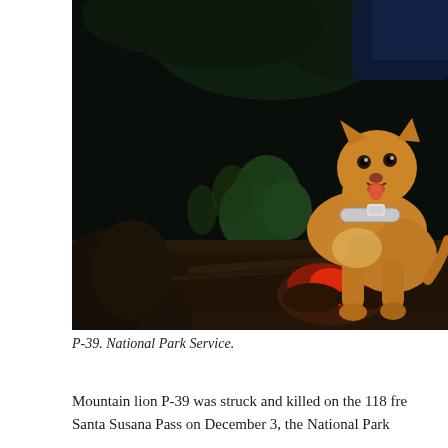[Figure (photo): A mountain lion (puma) wearing a tracking collar, caught on camera at night, crouching over a prey carcass. The lion has golden-tan fur and is snarling with mouth open, tongue visible. The background shows dark vegetation and brush. On the left edge is a dark animal shape (likely a deer). A bloodied carcass is on the ground in front of the lion.]
P-39. National Park Service.
Mountain lion P-39 was struck and killed on the 118 fre- Santa Susana Pass on December 3, the National Park